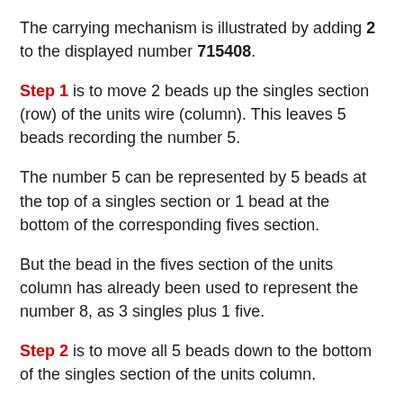The carrying mechanism is illustrated by adding 2 to the displayed number 715408.
Step 1 is to move 2 beads up the singles section (row) of the units wire (column). This leaves 5 beads recording the number 5.
The number 5 can be represented by 5 beads at the top of a singles section or 1 bead at the bottom of the corresponding fives section.
But the bead in the fives section of the units column has already been used to represent the number 8, as 3 singles plus 1 five.
Step 2 is to move all 5 beads down to the bottom of the singles section of the units column.